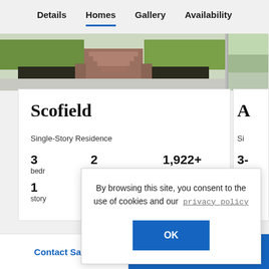Details   Homes   Gallery   Availability
[Figure (photo): Exterior photo of home showing brick staircase, landscaping with grass and shrubs]
Scofield
Single-Story Residence
3 bedr
2
1,922+
1 story
By browsing this site, you consent to the use of cookies and our privacy policy
OK
Contact Sales
Join VIP List